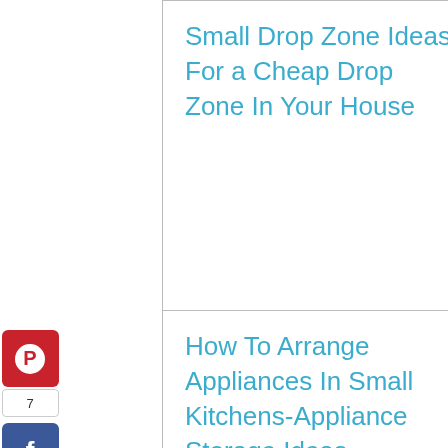Small Drop Zone Ideas For a Cheap Drop Zone In Your House
How To Arrange Appliances In Small Kitchens-Appliance Storage Ideas
[Figure (other): Pinterest share button icon (red rounded square with Pinterest P logo)]
7
[Figure (other): Facebook share button icon (blue rounded square with Facebook f logo)]
[Figure (other): Twitter share button icon (blue rounded square with Twitter bird logo)]